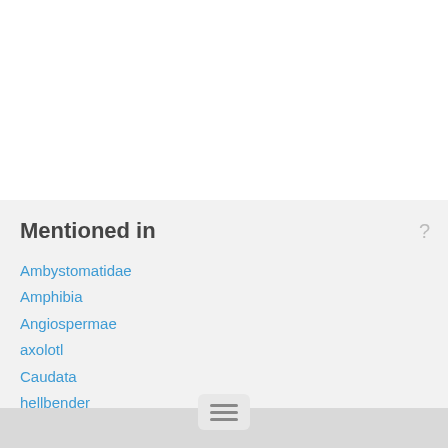Mentioned in
Ambystomatidae
Amphibia
Angiospermae
axolotl
Caudata
hellbender
heterochrony